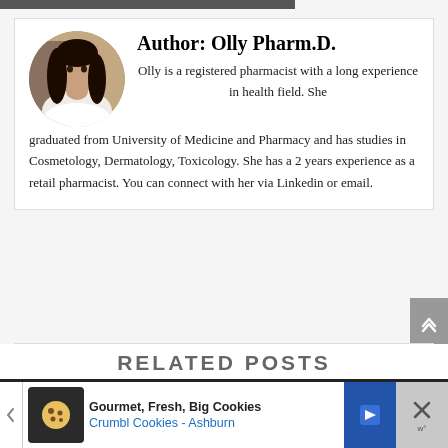[Figure (photo): Circular profile photo of author Olly Pharm.D., a woman with long dark hair]
Author: Olly Pharm.D.
Olly is a registered pharmacist with a long experience in health field. She graduated from University of Medicine and Pharmacy and has studies in Cosmetology, Dermatology, Toxicology. She has a 2 years experience as a retail pharmacist. You can connect with her via Linkedin or email.
RELATED POSTS
Gourmet, Fresh, Big Cookies Crumbl Cookies - Ashburn